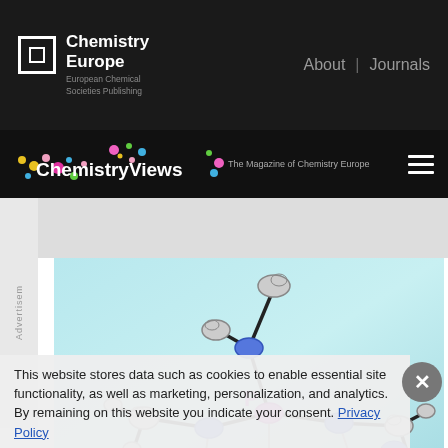Chemistry Europe | European Chemical Societies Publishing | About | Journals
ChemistryViews — The Magazine of Chemistry Europe
Advertisement
[Figure (illustration): Molecular structure diagram showing a phosphorus (P) atom in pink/magenta connected to several nitrogen (N) atoms in blue, with carbon atoms in gray/black, rendered as thermal ellipsoids on a light teal/cyan gradient background.]
This website stores data such as cookies to enable essential site functionality, as well as marketing, personalization, and analytics. By remaining on this website you indicate your consent. Privacy Policy